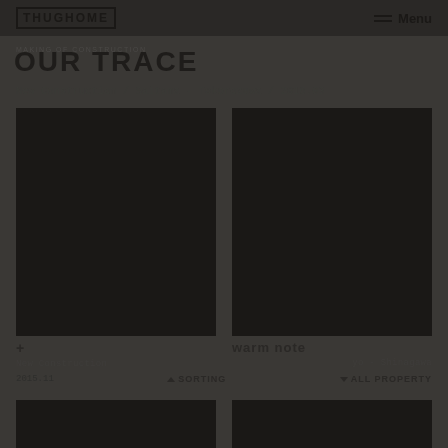HUGHOME | Menu
OUR TRACE
New Construction / Saitama - Tokorozawa / 2016.03
[Figure (photo): Dark architectural photo - left card]
[Figure (photo): Dark architectural photo - right card, warm note]
+ New Construction 2015.11
warm note yo - Shinagawa
SORTING | ALL PROPERTY
[Figure (photo): Bottom left thumbnail]
[Figure (photo): Bottom right thumbnail]